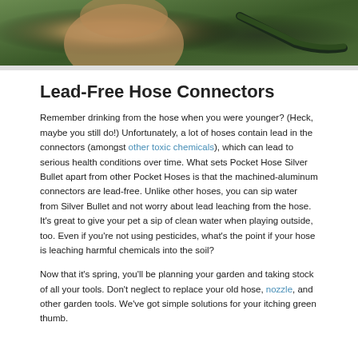[Figure (photo): Photo of a person outdoors holding a garden hose, cropped to show torso area]
Lead-Free Hose Connectors
Remember drinking from the hose when you were younger? (Heck, maybe you still do!) Unfortunately, a lot of hoses contain lead in the connectors (amongst other toxic chemicals), which can lead to serious health conditions over time. What sets Pocket Hose Silver Bullet apart from other Pocket Hoses is that the machined-aluminum connectors are lead-free. Unlike other hoses, you can sip water from Silver Bullet and not worry about lead leaching from the hose. It's great to give your pet a sip of clean water when playing outside, too. Even if you're not using pesticides, what's the point if your hose is leaching harmful chemicals into the soil?
Now that it's spring, you'll be planning your garden and taking stock of all your tools. Don't neglect to replace your old hose, nozzle, and other garden tools. We've got simple solutions for your itching green thumb.
Submit a Comment